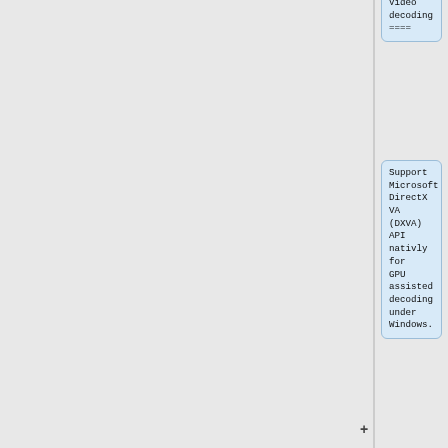Video
decoding
====
Support Microsoft DirectX VA (DXVA) API nativly for GPU assisted decoding under Windows.
Note! For this, native support for the above mentioned DirectShow API is